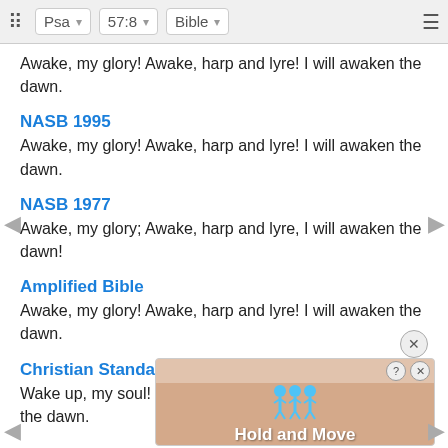Psa  57:8  Bible
Awake, my glory! Awake, harp and lyre! I will awaken the dawn.
NASB 1995
Awake, my glory! Awake, harp and lyre! I will awaken the dawn.
NASB 1977
Awake, my glory; Awake, harp and lyre, I will awaken the dawn!
Amplified Bible
Awake, my glory! Awake, harp and lyre! I will awaken the dawn.
Christian Standard Bible
Wake up, my soul! Wake up, harp and lyre! I will wake the dawn.
[Figure (screenshot): Mobile app advertisement overlay showing 'Hold and Move' text with cartoon figures and a close button]